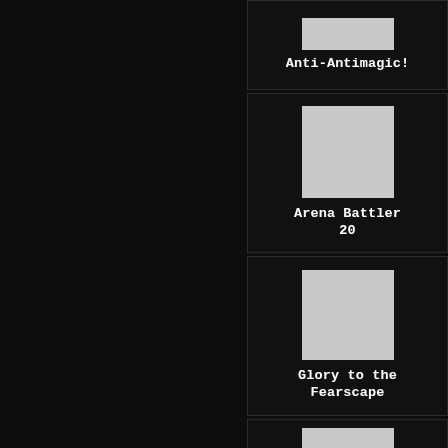[Figure (screenshot): Dark UI panel showing a list of game/media cards. Each card has a gray placeholder image and a white title in monospace font. Cards visible: 'Anti-Antimagic!' (partial top), 'Arena Battler 20', 'Glory to the Fearscape', 'A Fist Full of' (partial bottom).]